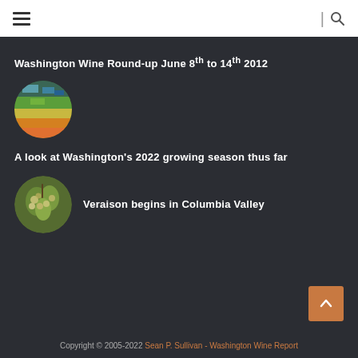Navigation header with hamburger menu and search icon
Washington Wine Round-up June 8th to 14th 2012
[Figure (photo): Circular thumbnail of a weather radar map showing green, yellow, orange and blue color bands over a geographic region]
A look at Washington's 2022 growing season thus far
[Figure (photo): Circular thumbnail of grape clusters on a vine with green leaves]
Veraison begins in Columbia Valley
Copyright © 2005-2022 Sean P. Sullivan - Washington Wine Report